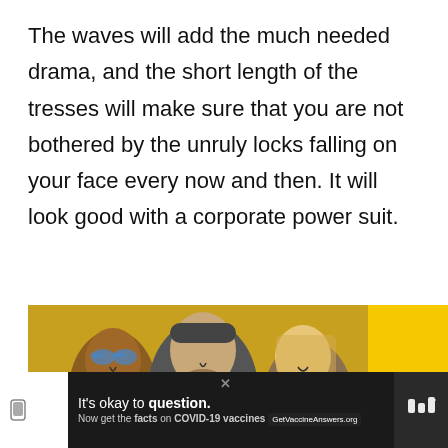The waves will add the much needed drama, and the short length of the tresses will make sure that you are not bothered by the unruly locks falling on your face every now and then. It will look good with a corporate power suit.
[Figure (photo): Advertisement banner showing a group of happy people (two women and a bearded man with a cap) on a yellow background. An ad badge is shown in the top right of the ad. A scroll-up button appears to the right. Text at bottom reads 'TO YOU' with decorative dots. A second bottom banner shows a COVID-19 vaccine information ad with 'It's okay to question. Now get the facts on COVID-19 vaccines GetVaccineAnswers.org']